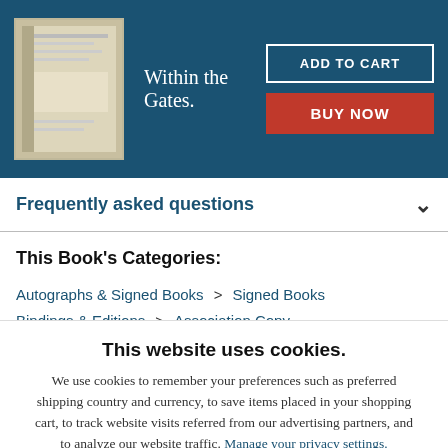Within the Gates.
Frequently asked questions
This Book's Categories:
Autographs & Signed Books > Signed Books
Bindings & Editions > Association Copy
This website uses cookies.
We use cookies to remember your preferences such as preferred shipping country and currency, to save items placed in your shopping cart, to track website visits referred from our advertising partners, and to analyze our website traffic. Manage your privacy settings.
AGREE AND CLOSE